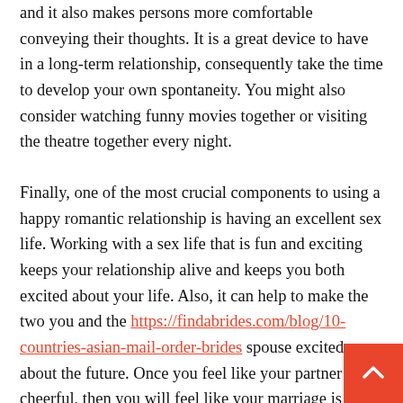and it also makes persons more comfortable conveying their thoughts. It is a great device to have in a long-term relationship, consequently take the time to develop your own spontaneity. You might also consider watching funny movies together or visiting the theatre together every night.
Finally, one of the most crucial components to using a happy romantic relationship is having an excellent sex life. Working with a sex life that is fun and exciting keeps your relationship alive and keeps you both excited about your life. Also, it can help to make the two you and the https://findabrides.com/blog/10-countries-asian-mail-order-brides spouse excited about the future. Once you feel like your partner is cheerful, then you will feel like your marriage is truly some thing special, and will also be able to give attention to the future and the success with the relationship, instead of worrying about what you